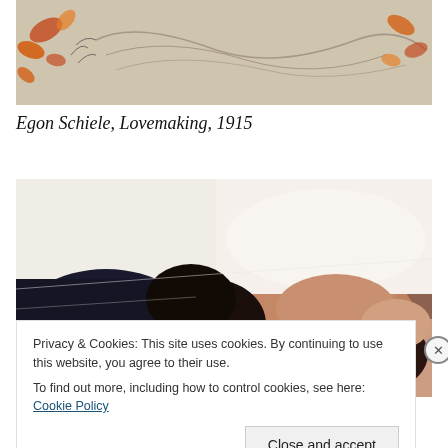[Figure (illustration): Top portion of Egon Schiele artwork showing figures with orange/red accents on light background]
Egon Schiele, Lovemaking, 1915
[Figure (photo): Photograph of two people lying on white bedding, one clothed in dark clothing nuzzling the other]
Privacy & Cookies: This site uses cookies. By continuing to use this website, you agree to their use.
To find out more, including how to control cookies, see here: Cookie Policy
Close and accept